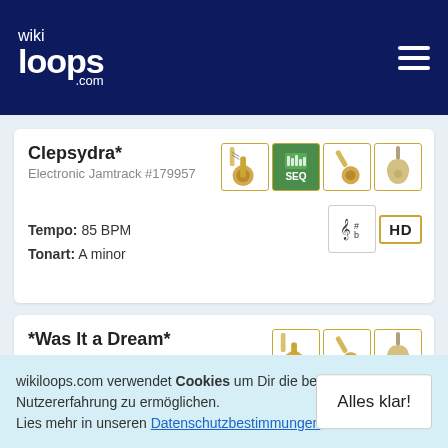wikiloops.com
Clepsydra*
Electronic Jamtrack #179957
Tempo: 85 BPM
Tonart: A minor
*Was It a Dream*
World Jamtrack #164566
wikiloops.com verwendet Cookies um Dir die beste Nutzererfahrung zu ermöglichen. Lies mehr in unseren Datenschutzbestimmungen .